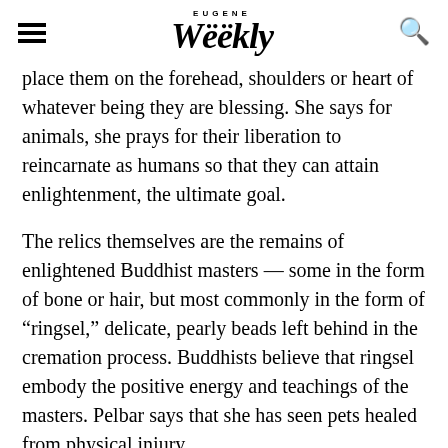Eugene Weekly
place them on the forehead, shoulders or heart of whatever being they are blessing. She says for animals, she prays for their liberation to reincarnate as humans so that they can attain enlightenment, the ultimate goal.
The relics themselves are the remains of enlightened Buddhist masters — some in the form of bone or hair, but most commonly in the form of “ringsel,” delicate, pearly beads left behind in the cremation process. Buddhists believe that ringsel embody the positive energy and teachings of the masters. Pelbar says that she has seen pets healed from physical injury